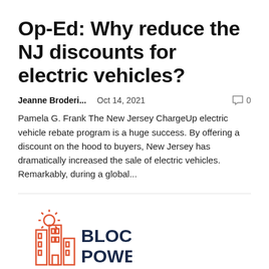Op-Ed: Why reduce the NJ discounts for electric vehicles?
Jeanne Broderi...   Oct 14, 2021   0
Pamela G. Frank The New Jersey ChargeUp electric vehicle rebate program is a huge success. By offering a discount on the hood to buyers, New Jersey has dramatically increased the sale of electric vehicles. Remarkably, during a global...
[Figure (logo): BlocPower logo — orange geometric building/city icon on the left, dark navy bold text 'BLOC POWER' on the right]
BlocPower honored by